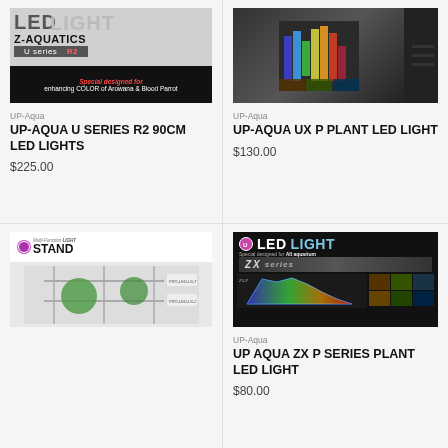[Figure (photo): Product image for UP-Aqua U Series R2 LED light, showing LED LIGHT Z-AQUATICS branding with black banner saying Special designed for enhancing COLOR of Arowana & Blood Parrot]
UP-Aqua
UP-AQUA U SERIES R2 90CM LED LIGHTS
$225.00
[Figure (photo): Product image for UP-Aqua UX P Plant LED Light with spectrum visualization on dark background with hamburger menu icon]
UP-Aqua
UP-AQUA UX P PLANT LED LIGHT
$130.00
[Figure (photo): Product image for Multi-Function Light Stand showing plants hanging under LED lights with UP logo]
[Figure (photo): Product image for UP Aqua ZX P Series Plant LED Light with ZX series branding on black background with spectrum chart]
UP-Aqua
UP AQUA ZX P SERIES PLANT LED LIGHT
$80.00